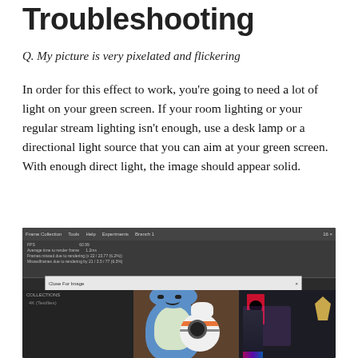Troubleshooting
Q. My picture is very pixelated and flickering
In order for this effect to work, you’re going to need a lot of light on your green screen. If your room lighting or your regular stream lighting isn’t enough, use a desk lamp or a directional light source that you can aim at your green screen. With enough direct light, the image should appear solid.
[Figure (screenshot): Screenshot of streaming software (OBS or similar) showing a preview window with stuffed animals (Snorlax and BB-8) on the left panel and a gaming room setup on the right panel, with a dark UI and menu bars visible.]